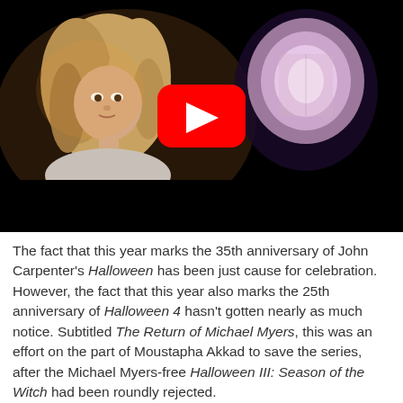[Figure (screenshot): YouTube video thumbnail showing a horror film scene. On the left, a woman with curly blonde hair looks frightened, lit in warm tones against a dark background. On the right, a glowing orb-like light effect. A large red YouTube play button is centered over the image.]
The fact that this year marks the 35th anniversary of John Carpenter's Halloween has been just cause for celebration. However, the fact that this year also marks the 25th anniversary of Halloween 4 hasn't gotten nearly as much notice. Subtitled The Return of Michael Myers, this was an effort on the part of Moustapha Akkad to save the series, after the Michael Myers-free Halloween III: Season of the Witch had been roundly rejected.